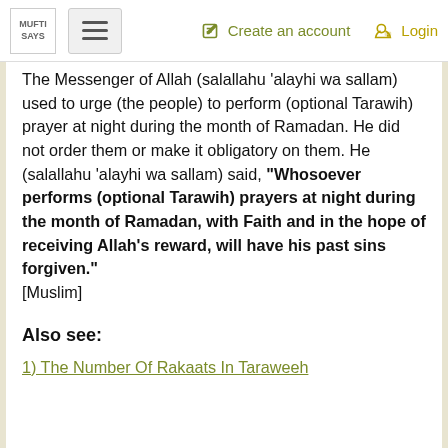MUFTI SAYS | Create an account | Login
The Messenger of Allah (salallahu 'alayhi wa sallam) used to urge (the people) to perform (optional Tarawih) prayer at night during the month of Ramadan. He did not order them or make it obligatory on them. He (salallahu 'alayhi wa sallam) said, "Whosoever performs (optional Tarawih) prayers at night during the month of Ramadan, with Faith and in the hope of receiving Allah's reward, will have his past sins forgiven." [Muslim]
Also see:
1) The Number Of Rakaats In Taraweeh